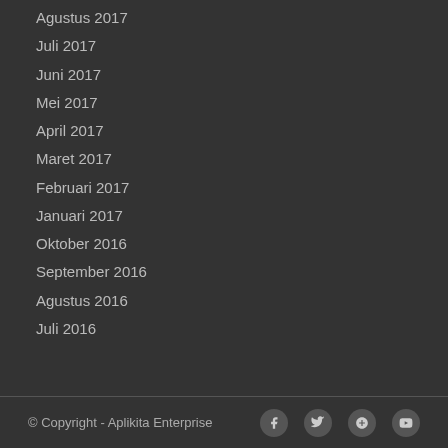Agustus 2017
Juli 2017
Juni 2017
Mei 2017
April 2017
Maret 2017
Februari 2017
Januari 2017
Oktober 2016
September 2016
Agustus 2016
Juli 2016
© Copyright - Aplikita Enterprise